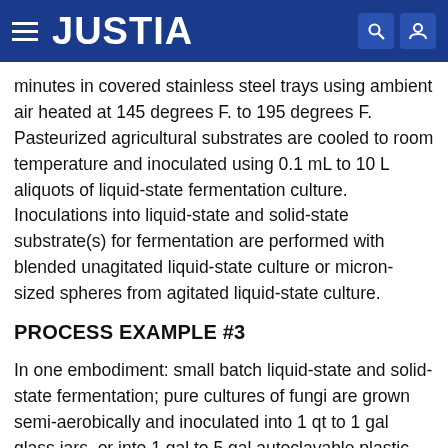JUSTIA
minutes in covered stainless steel trays using ambient air heated at 145 degrees F. to 195 degrees F. Pasteurized agricultural substrates are cooled to room temperature and inoculated using 0.1 mL to 10 L aliquots of liquid-state fermentation culture. Inoculations into liquid-state and solid-state substrate(s) for fermentation are performed with blended unagitated liquid-state culture or micron-sized spheres from agitated liquid-state culture.
PROCESS EXAMPLE #3
In one embodiment: small batch liquid-state and solid-state fermentation; pure cultures of fungi are grown semi-aerobically and inoculated into 1 qt to 1 gal glass jars, or into 1 gal to 5 gal autoclavable plastic bags containing properly prepared grain or similar